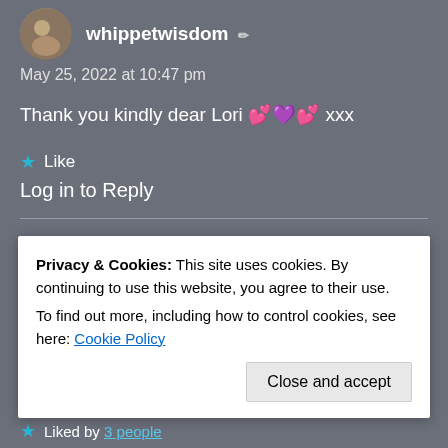whippetwisdom ✏
May 25, 2022 at 10:47 pm
Thank you kindly dear Lori 💕💜💕 xxx
⭐ Like
Log in to Reply
shepsight
May 25, 2022 at 9:39 pm
Privacy & Cookies: This site uses cookies. By continuing to use this website, you agree to their use. To find out more, including how to control cookies, see here: Cookie Policy
Close and accept
⭐ Liked by 3 people